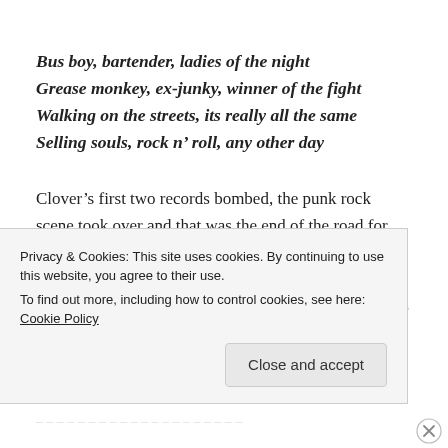Bus boy, bartender, ladies of the night
Grease monkey, ex-junky, winner of the fight
Walking on the streets, its really all the same
Selling souls, rock n' roll, any other day
Clover's first two records bombed, the punk rock scene took over and that was the end of the road for the band, at that time. Huey returned to San Francisco, re-enrolled in college to pursue an engineering degree and started playing around at local bars to make a little side money.
Privacy & Cookies: This site uses cookies. By continuing to use this website, you agree to their use.
To find out more, including how to control cookies, see here: Cookie Policy
Close and accept